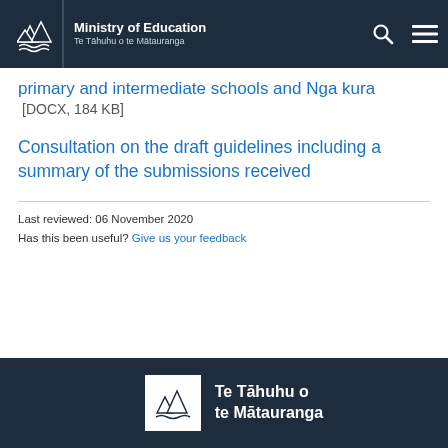Ministry of Education | Te Tāhuhu o te Mātauranga
primary and intermediate schools and Nga kura [DOCX, 184 KB]
Consultation on the draft guidelines including a summary of the submissions received
Last reviewed: 06 November 2020
Has this been useful? Give us your feedback
Te Tāhuhu o te Mātauranga